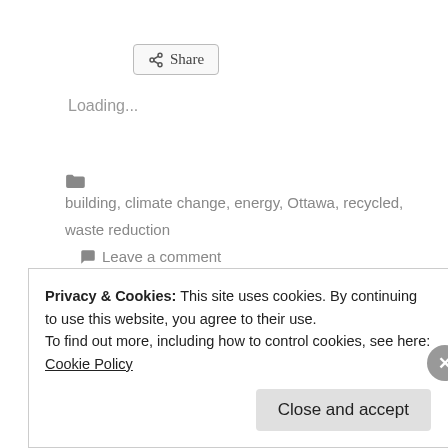[Figure (other): Share button with share icon]
Loading...
building, climate change, energy, Ottawa, recycled, waste reduction   Leave a comment
Privacy & Cookies: This site uses cookies. By continuing to use this website, you agree to their use.
To find out more, including how to control cookies, see here: Cookie Policy
Close and accept